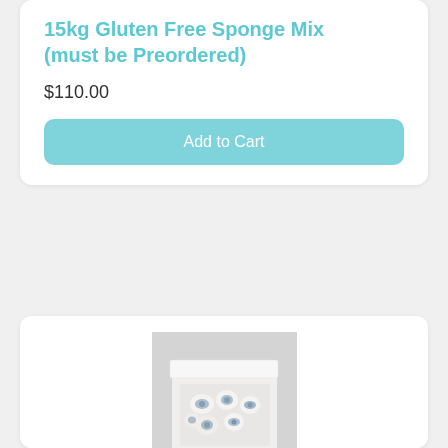15kg Gluten Free Sponge Mix (must be Preordered)
$110.00
Add to Cart
[Figure (photo): Photo of a 155x155x30mm biscuit box with a clear window showing decorative biscuits with blue floral icing inside a white box]
155x155x30mm Biscuit Box with Window